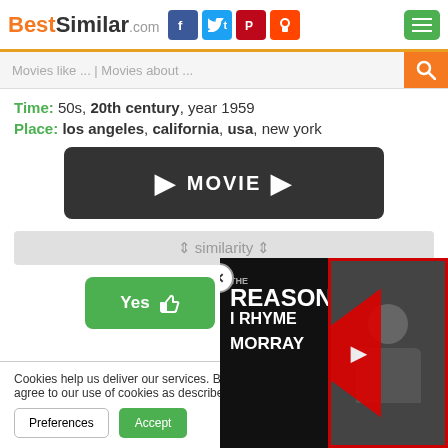BestSimilar.com
Movies like ... | Movies about ...
Time: 50s, 20th century, year 1959
Place: los angeles, california, usa, new york
[Figure (other): MOVIE button with play arrows]
↕ similarity ↕
[Figure (other): Yes thumbs up and No thumbs down voting buttons]
59
Cookies help us deliver our services. By us... you agree to our use of cookies as describe...
[Figure (other): Video overlay: THE REASON I RHYME MORRAY with person image]